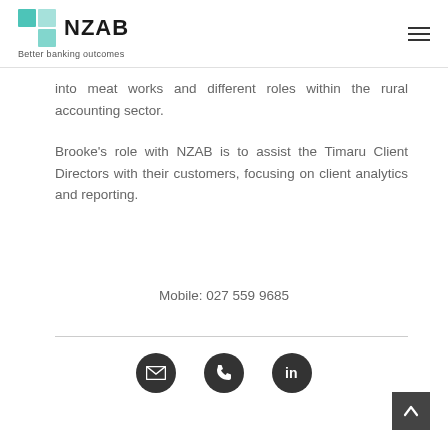NZAB – Better banking outcomes
into meat works and different roles within the rural accounting sector.
Brooke's role with NZAB is to assist the Timaru Client Directors with their customers, focusing on client analytics and reporting.
Mobile: 027 559 9685
[Figure (other): Social contact icons row: email envelope icon, phone icon, LinkedIn icon – all white on dark grey circular backgrounds]
[Figure (other): Back to top button – dark grey square with upward chevron arrow]